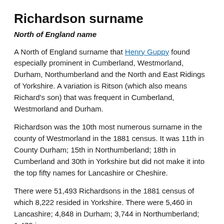Richardson surname
North of England name
A North of England surname that Henry Guppy found especially prominent in Cumberland, Westmorland, Durham, Northumberland and the North and East Ridings of Yorkshire. A variation is Ritson (which also means Richard’s son) that was frequent in Cumberland, Westmorland and Durham.
Richardson was the 10th most numerous surname in the county of Westmorland in the 1881 census. It was 11th in County Durham; 15th in Northumberland; 18th in Cumberland and 30th in Yorkshire but did not make it into the top fifty names for Lancashire or Cheshire.
There were 51,493 Richardsons in the 1881 census of which 8,222 resided in Yorkshire. There were 5,460 in Lancashire; 4,848 in Durham; 3,744 in Northumberland; 1,473 i…